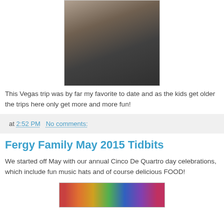[Figure (photo): Photo of a person sitting, holding a white cup, viewed from above]
This Vegas trip was by far my favorite to date and as the kids get older the trips here only get more and more fun!
at 2:52 PM   No comments:
Fergy Family May 2015 Tidbits
We started off May with our annual Cinco De Quartro day celebrations, which include fun music hats and of course delicious FOOD!
[Figure (photo): Photo showing colorful hats or decorations at a Cinco De Quartro celebration]